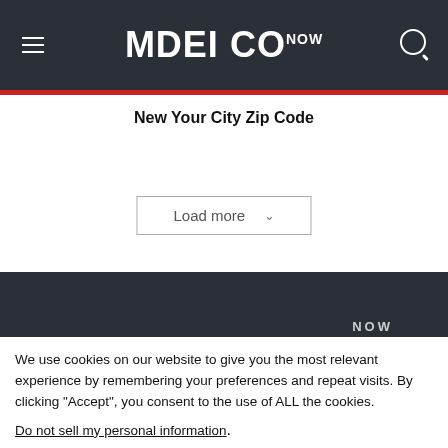MDEI CO NOW
New Your City Zip Code
[Figure (screenshot): Load more button with chevron dropdown indicator]
[Figure (screenshot): Dark header bar with NOW text partially visible]
We use cookies on our website to give you the most relevant experience by remembering your preferences and repeat visits. By clicking “Accept”, you consent to the use of ALL the cookies.
Do not sell my personal information.
Cookie Settings
Accept